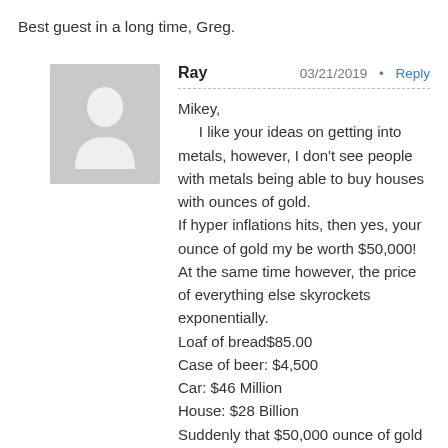Best guest in a long time, Greg.
[Figure (illustration): Gray avatar/silhouette placeholder image representing a user profile picture]
Ray   03/21/2019 • Reply
Mikey,
I like your ideas on getting into metals, however, I don't see people with metals being able to buy houses with ounces of gold.
If hyper inflations hits, then yes, your ounce of gold my be worth $50,000!
At the same time however, the price of everything else skyrockets exponentially.
Loaf of bread$85.00
Case of beer: $4,500
Car: $46 Million
House: $28 Billion
Suddenly that $50,000 ounce of gold doesn't buy much house anymore.
The sad reality is……The Banksters will ALWAYS be paid.
Best Wishes Mikey.